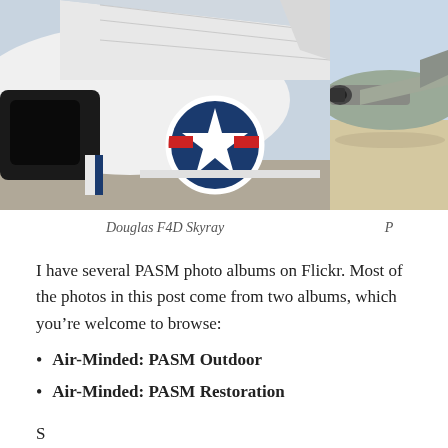[Figure (photo): Close-up photo of a Douglas F4D Skyray aircraft showing the fuselage with a US military star insignia and black exhaust area]
[Figure (photo): Partial photo of another aircraft on a desert airfield, cropped at right edge]
Douglas F4D Skyray
P
I have several PASM photo albums on Flickr. Most of the photos in this post come from two albums, which you’re welcome to browse:
Air-Minded: PASM Outdoor
Air-Minded: PASM Restoration
S